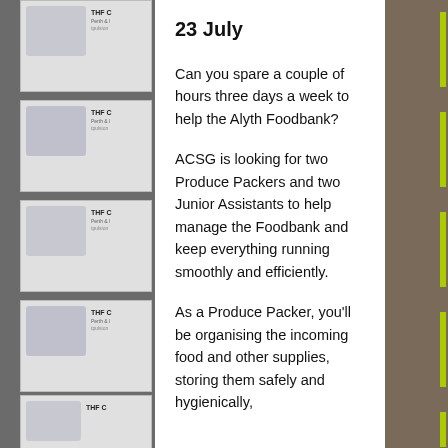23 July
Can you spare a couple of hours three days a week to help the Alyth Foodbank?
ACSG is looking for two Produce Packers and two Junior Assistants to help manage the Foodbank and keep everything running smoothly and efficiently.
As a Produce Packer, you'll be organising the incoming food and other supplies, storing them safely and hygienically,